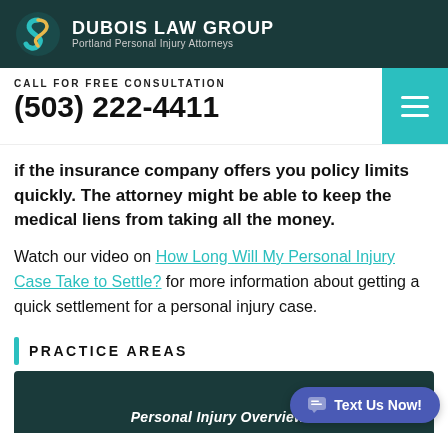DUBOIS LAW GROUP - Portland Personal Injury Attorneys
CALL FOR FREE CONSULTATION
(503) 222-4411
if the insurance company offers you policy limits quickly. The attorney might be able to keep the medical liens from taking all the money.
Watch our video on How Long Will My Personal Injury Case Take to Settle? for more information about getting a quick settlement for a personal injury case.
PRACTICE AREAS
Personal Injury Overview...